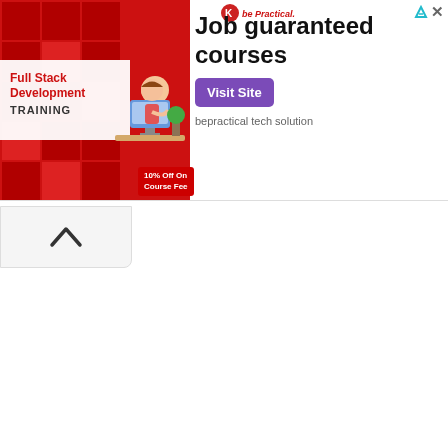[Figure (screenshot): Advertisement banner for bePractical tech solution Full Stack Development TRAINING course with 10% Off On Course Fee. Shows a person at a computer desk illustration with red block logo. Right side shows 'Job guaranteed courses' heading, a purple 'Visit Site' button, and 'bepractical tech solution' tagline.]
[Figure (other): Scroll-up / collapse button with an upward caret arrow icon, positioned below the ad banner.]